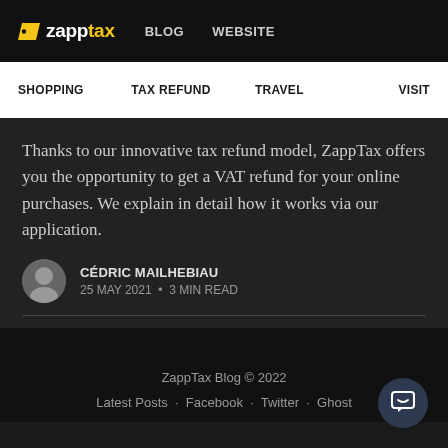zapptax  BLOG  WEBSITE
SHOPPING  TAX REFUND  TRAVEL  VISIT
Thanks to our innovative tax refund model, ZappTax offers you the opportunity to get a VAT refund for your online purchases. We explain in detail how it works via our application.
CÉDRIC MAILHEBIAU
25 MAY 2021 • 3 MIN READ
ZappTax Blog © 2022
Latest Posts · Facebook · Twitter · Ghost